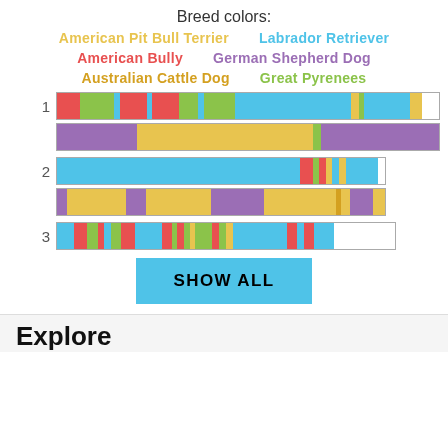Breed colors:
American Pit Bull Terrier  Labrador Retriever  American Bully  German Shepherd Dog  Australian Cattle Dog  Great Pyrenees
[Figure (stacked-bar-chart): Three rows of stacked bar charts showing breed color distributions. Row 1 has two bars, Row 2 has two bars, Row 3 has one bar. Colors correspond to breeds: red=American Pit Bull Terrier, blue=Labrador Retriever, green=Australian Cattle Dog, salmon/light-red=American Bully, purple=German Shepherd Dog, yellow=Great Pyrenees.]
SHOW ALL
Explore